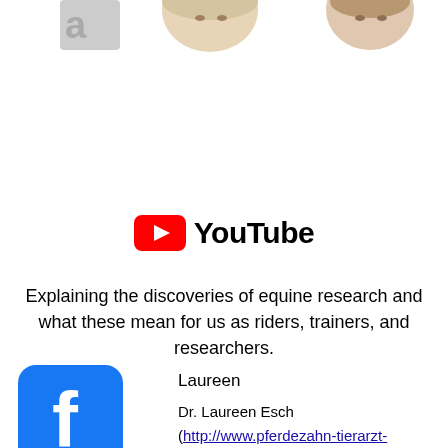[Figure (photo): Partial photos of two people visible at the top of the page, cropped]
[Figure (logo): YouTube logo with red play button icon and black YouTube wordmark]
Explaining the discoveries of equine research and what these mean for us as riders, trainers, and researchers.
[Figure (logo): Facebook logo - blue rounded square with white f letter]
Laureen

Dr. Laureen Esch (http://www.pferdezahn-tierarzt-praxis.de/) is a qualified veterinary